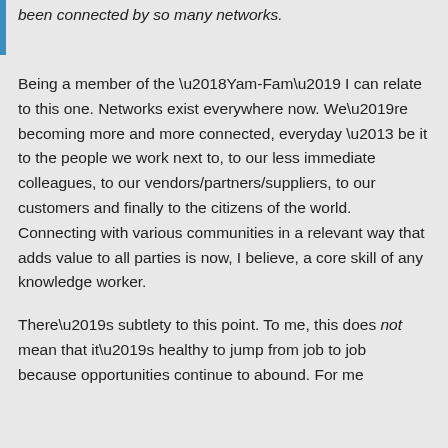been connected by so many networks.
Being a member of the ‘Yam-Fam’ I can relate to this one. Networks exist everywhere now. We’re becoming more and more connected, everyday – be it to the people we work next to, to our less immediate colleagues, to our vendors/partners/suppliers, to our customers and finally to the citizens of the world. Connecting with various communities in a relevant way that adds value to all parties is now, I believe, a core skill of any knowledge worker.
There’s subtlety to this point. To me, this does not mean that it’s healthy to jump from job to job because opportunities continue to abound. For me